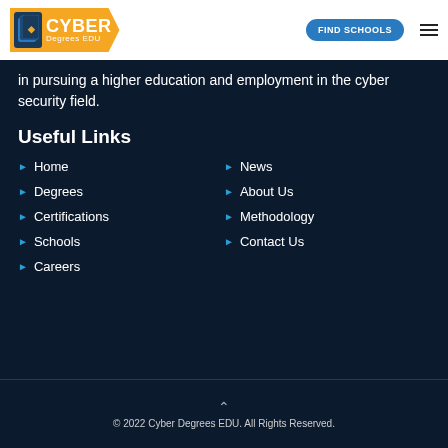Cyber Degrees EDU | FIND SCHOOLS
in pursuing a higher education and employment in the cyber security field.
Useful Links
Home
Degrees
Certifications
Schools
Careers
News
About Us
Methodology
Contact Us
© 2022 Cyber Degrees EDU. All Rights Reserved.